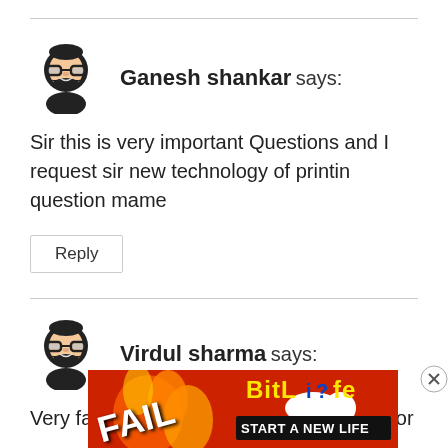[Figure (other): Horizontal separator line]
Ganesh shankar says:
Sir this is very important Questions and I request sir new technology of printin question mame
Reply
[Figure (other): Horizontal separator line]
Virdul sharma says:
Very fantastic questions for projects and for
[Figure (other): BitLife advertisement banner with FAIL text and character illustration]